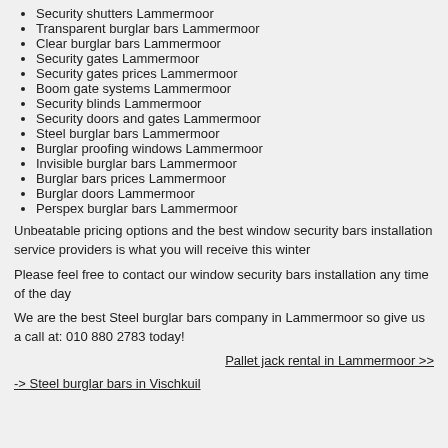Security shutters Lammermoor
Transparent burglar bars Lammermoor
Clear burglar bars Lammermoor
Security gates Lammermoor
Security gates prices Lammermoor
Boom gate systems Lammermoor
Security blinds Lammermoor
Security doors and gates Lammermoor
Steel burglar bars Lammermoor
Burglar proofing windows Lammermoor
Invisible burglar bars Lammermoor
Burglar bars prices Lammermoor
Burglar doors Lammermoor
Perspex burglar bars Lammermoor
Unbeatable pricing options and the best window security bars installation service providers is what you will receive this winter
Please feel free to contact our window security bars installation any time of the day
We are the best Steel burglar bars company in Lammermoor so give us a call at: 010 880 2783 today!
Pallet jack rental in Lammermoor >>
-> Steel burglar bars in Vischkuil